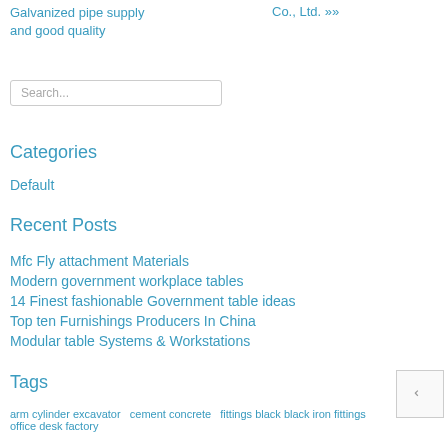Galvanized pipe supply and good quality
Co., Ltd. »
Search...
Categories
Default
Recent Posts
Mfc Fly attachment Materials
Modern government workplace tables
14 Finest fashionable Government table ideas
Top ten Furnishings Producers In China
Modular table Systems & Workstations
Tags
arm cylinder excavator   cement concrete   fittings black black iron fittings   office desk factory